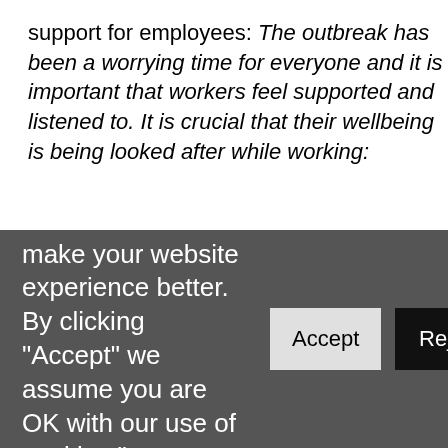support for employees: The outbreak has been a worrying time for everyone and it is important that workers feel supported and listened to. It is crucial that their wellbeing is being looked after while working:
Talk through specific concerns.
Talk about what can be done to help people feel safe. This may include providing information about
We use cookies to make your website experience better. By clicking "Accept" we assume you are OK with our use of cookies."